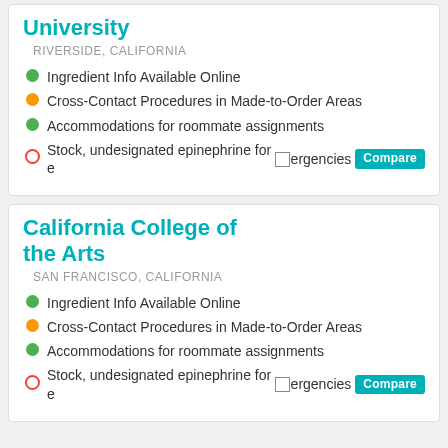University
RIVERSIDE, CALIFORNIA
Ingredient Info Available Online
Cross-Contact Procedures in Made-to-Order Areas
Accommodations for roommate assignments
Stock, undesignated epinephrine for emergencies
California College of the Arts
SAN FRANCISCO, CALIFORNIA
Ingredient Info Available Online
Cross-Contact Procedures in Made-to-Order Areas
Accommodations for roommate assignments
Stock, undesignated epinephrine for emergencies